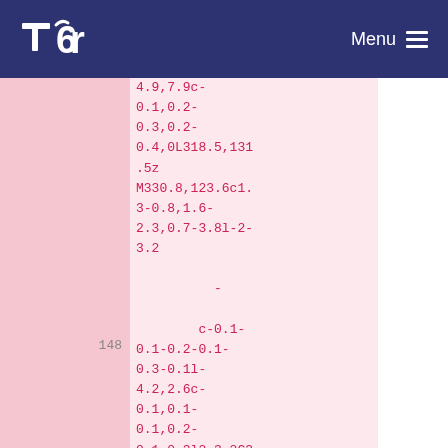Tor Menu
4.9,7.9c-0.1,0.2-0.3,0.2-0.4,0L318.5,131.5z M330.8,123.6c1.3-0.8,1.6-2.3,0.7-3.8l-2-3.2
148  -
c-0.1-0.1-0.2-0.1-0.3-0.1l-4.2,2.6c-0.1,0.1-0.1,0.2-0.1,0.3l2,3.2C327.9,124,329.4,124.4,330.8,123